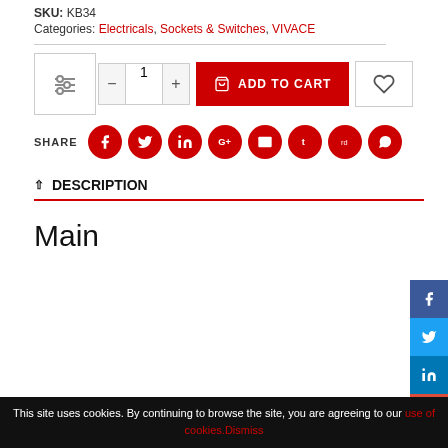SKU: KB34
Categories: Electricals, Sockets & Switches, VIVACE
1  ADD TO CART
SHARE
DESCRIPTION
Main
This site uses cookies. By continuing to browse the site, you are agreeing to our use of cookies. Dismiss